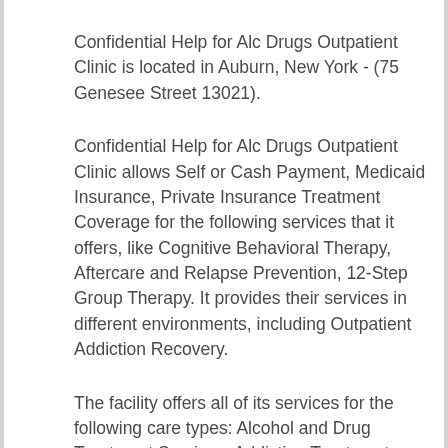Confidential Help for Alc Drugs Outpatient Clinic is located in Auburn, New York - (75 Genesee Street 13021).
Confidential Help for Alc Drugs Outpatient Clinic allows Self or Cash Payment, Medicaid Insurance, Private Insurance Treatment Coverage for the following services that it offers, like Cognitive Behavioral Therapy, Aftercare and Relapse Prevention, 12-Step Group Therapy. It provides their services in different environments, including Outpatient Addiction Recovery.
The facility offers all of its services for the following care types: Alcohol and Drug Treatment Services, Addiction Treatment